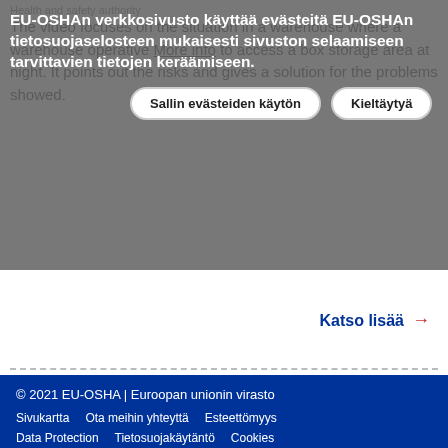Health and safety authority
The video focuses on the situation in a warehouse where a warehouse operative needs to access a box storage area at night. It points out the risks and gives a solution for the problems showed.
EU-OSHAn verkkosivusto käyttää evästeitä EU-OSHAn tietosuojaselosteen mukaisesti sivuston selaamiseen tarvittavien tietojen keräämiseen.
More info | Sallin evästeiden käytön | Kieltäytyä
Katso lisää →
© 2021 EU-OSHA | Euroopan unionin virasto
Sivukartta   Ota meihin yhteyttä   Esteettömyys
Data Protection   Tietosuojakäytäntö   Cookies
Oikeudellinen huomautus   RSS